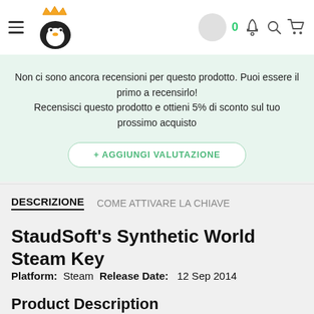Navigation bar with hamburger menu, penguin logo, circle avatar, badge 0, bell, search, and cart icons
Non ci sono ancora recensioni per questo prodotto. Puoi essere il primo a recensirlo!
Recensisci questo prodotto e ottieni 5% di sconto sul tuo prossimo acquisto
+ AGGIUNGI VALUTAZIONE
DESCRIZIONE   COME ATTIVARE LA CHIAVE
StaudSoft's Synthetic World Steam Key
Platform: Steam  Release Date:  12 Sep 2014
Product Description